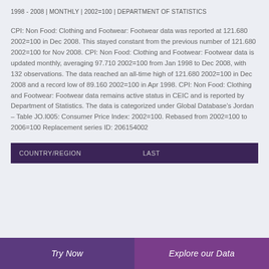1998 - 2008 | MONTHLY | 2002=100 | DEPARTMENT OF STATISTICS
CPI: Non Food: Clothing and Footwear: Footwear data was reported at 121.680 2002=100 in Dec 2008. This stayed constant from the previous number of 121.680 2002=100 for Nov 2008. CPI: Non Food: Clothing and Footwear: Footwear data is updated monthly, averaging 97.710 2002=100 from Jan 1998 to Dec 2008, with 132 observations. The data reached an all-time high of 121.680 2002=100 in Dec 2008 and a record low of 89.160 2002=100 in Apr 1998. CPI: Non Food: Clothing and Footwear: Footwear data remains active status in CEIC and is reported by Department of Statistics. The data is categorized under Global Database’s Jordan – Table JO.I005: Consumer Price Index: 2002=100. Rebased from 2002=100 to 2006=100 Replacement series ID: 206154002
| COUNTRY/REGION | LAST |
| --- | --- |
Try Now   Explore our Data